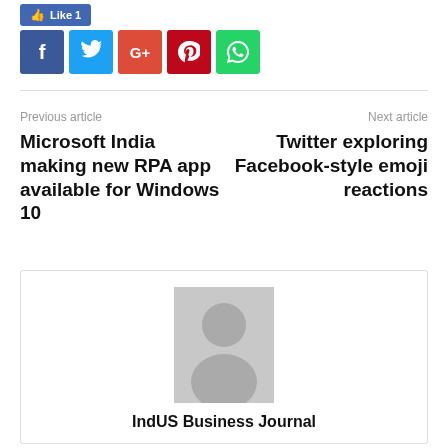[Figure (other): Facebook Like button showing Like 1]
[Figure (other): Social sharing icons: Facebook (f), Twitter (bird), Google+ (G+), Pinterest (p), WhatsApp (phone)]
Previous article
Next article
Microsoft India making new RPA app available for Windows 10
Twitter exploring Facebook-style emoji reactions
[Figure (photo): Default avatar placeholder image (grey silhouette on grey background)]
IndUS Business Journal